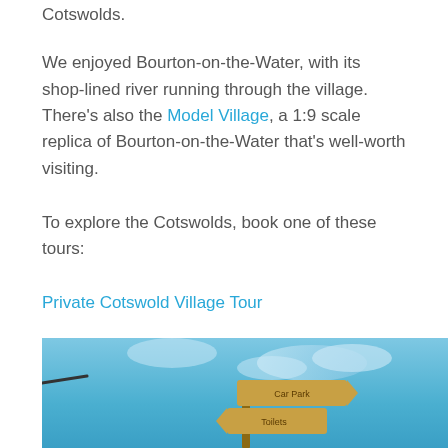Cotswolds.
We enjoyed Bourton-on-the-Water, with its shop-lined river running through the village. There's also the Model Village, a 1:9 scale replica of Bourton-on-the-Water that's well-worth visiting.
To explore the Cotswolds, book one of these tours:
Private Cotswold Village Tour
Tour of the Cotswolds from Moreton-in-Marsh
Suggested number of days for your England itinerary: 1-2
[Figure (photo): Photo of wooden directional signpost against a blue sky background]